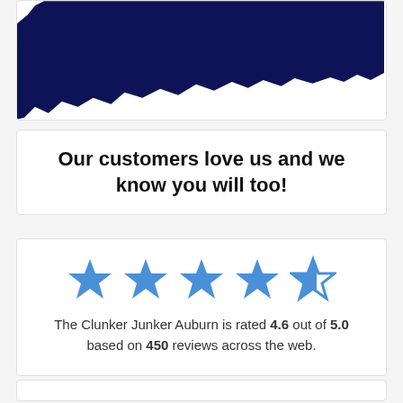[Figure (map): Dark navy blue silhouette of the state of Washington shown partially cropped at top]
Our customers love us and we know you will too!
[Figure (infographic): Five stars rating display: four full blue stars and one partially filled blue star]
The Clunker Junker Auburn is rated 4.6 out of 5.0 based on 450 reviews across the web.